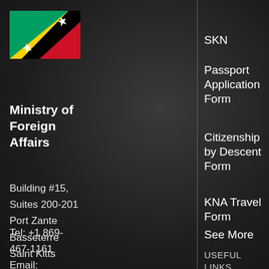[Figure (illustration): Flag of Saint Kitts and Nevis - green, yellow diagonal stripe with black diagonal and two white stars, red triangle]
Ministry of Foreign Affairs
Building #15, Suites 200-201
Port Zante
Basseterre
Saint Kitts
Tel: +1 869-467-1161
Email:
SKN
Passport Application Form
Citizenship by Descent Form
KNA Travel Form
See More
USEFUL LINKS
FACEBOOK